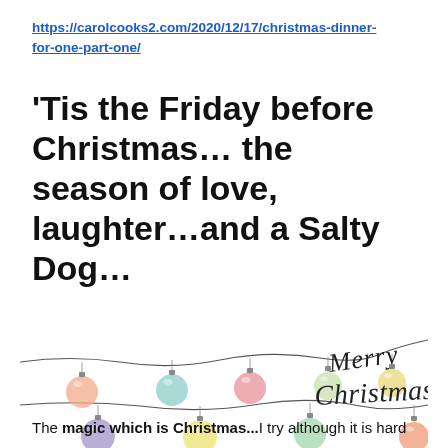https://carolcooks2.com/2020/12/17/christmas-dinner-for-one-part-one/
'Tis the Friday before Christmas… the season of love, laughter…and a Salty Dog…
[Figure (illustration): Watercolor illustration of Christmas ornaments hanging on strings of lights with cursive 'Merry Christmas' text on the right side]
The magic which is Christmas...I try although it is hard